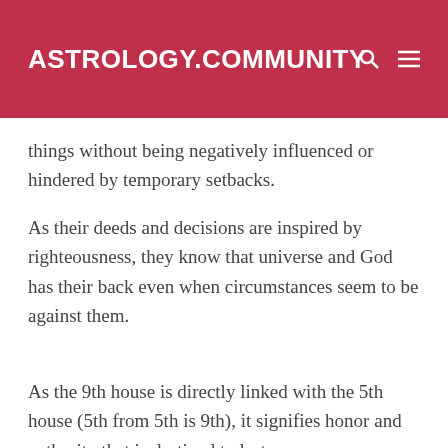ASTROLOGY.COMMUNITY
things without being negatively influenced or hindered by temporary setbacks.
As their deeds and decisions are inspired by righteousness, they know that universe and God has their back even when circumstances seem to be against them.
As the 9th house is directly linked with the 5th house (5th from 5th is 9th), it signifies honor and authority that is destined to last.